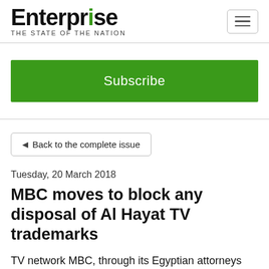Enterprise THE STATE OF THE NATION
Subscribe
◄ Back to the complete issue
Tuesday, 20 March 2018
MBC moves to block any disposal of Al Hayat TV trademarks
TV network MBC, through its Egyptian attorneys Shahid Law Firm, have already requested the nullification of any acts of